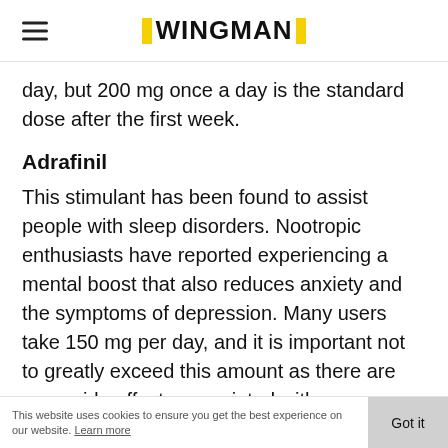WINGMAN
day, but 200 mg once a day is the standard dose after the first week.
Adrafinil
This stimulant has been found to assist people with sleep disorders. Nootropic enthusiasts have reported experiencing a mental boost that also reduces anxiety and the symptoms of depression. Many users take 150 mg per day, and it is important not to greatly exceed this amount as there are more side effects associated with
This website uses cookies to ensure you get the best experience on our website. Learn more  Got it